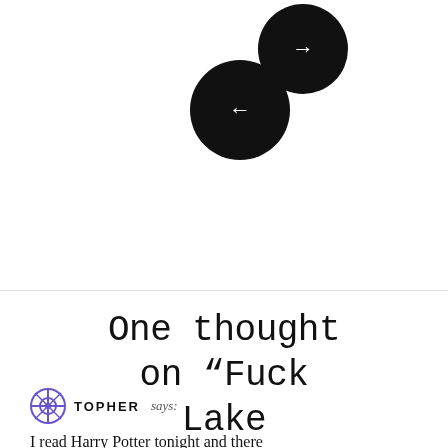[Figure (illustration): Two black circular navigation buttons: a right-arrow button (top right) and a left-arrow button (bottom left), overlapping slightly.]
One thought on “Fuck Lake Calhoun”
TOPHER says:
I read Harry Potter tonight and there was more truth and accuracy than